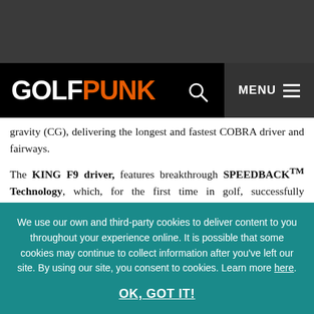GOLFPUNK
gravity (CG), delivering the longest and fastest COBRA driver and fairways.
The KING F9 driver, features breakthrough SPEEDBACK™ Technology, which, for the first time in golf, successfully combines a highly aerodynamic clubhead shape with low CG. SPEEDBACK is a game-changing advancement in the way a driver is engineered. T
We use our own and third-party cookies to deliver content to you throughout your experience online. It is possible that some cookies may continue to collect information after you've left our site. By using our site, you consent to cookies. Learn more here.
OK, GOT IT!